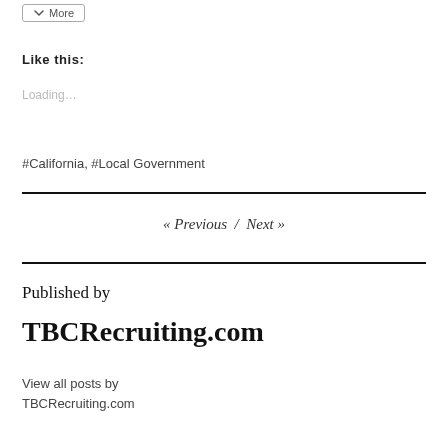[Figure (other): More button with cursor icon]
Like this:
Loading…
#California, #Local Government
« Previous  /  Next »
Published by
TBCRecruiting.com
View all posts by TBCRecruiting.com